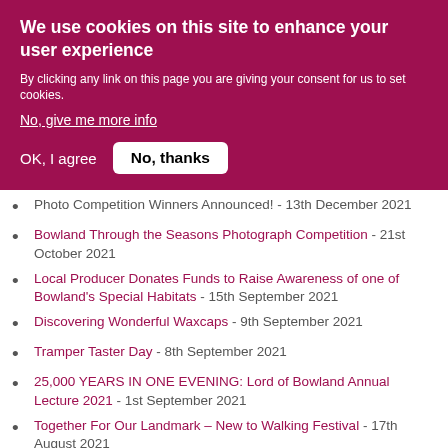We use cookies on this site to enhance your user experience
By clicking any link on this page you are giving your consent for us to set cookies.
No, give me more info
OK, I agree   No, thanks
Photo Competition Winners Announced! - 13th December 2021
Bowland Through the Seasons Photograph Competition - 21st October 2021
Local Producer Donates Funds to Raise Awareness of one of Bowland's Special Habitats - 15th September 2021
Discovering Wonderful Waxcaps - 9th September 2021
Tramper Taster Day - 8th September 2021
25,000 YEARS IN ONE EVENING: Lord of Bowland Annual Lecture 2021 - 1st September 2021
Together For Our Landmark – New to Walking Festival - 17th August 2021